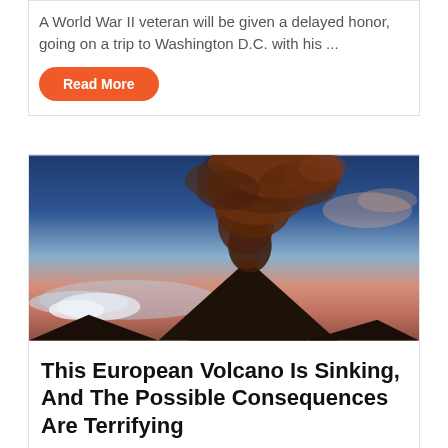A World War II veteran will be given a delayed honor, going on a trip to Washington D.C. with his ...
Read More
[Figure (photo): A dramatic photograph of an erupting volcano with a large plume of dark reddish-brown ash and smoke billowing upward against a blue and orange sky at dusk or dawn.]
This European Volcano Is Sinking, And The Possible Consequences Are Terrifying
Meagan Nantwich
Researchers have discovered that the most active volcano in